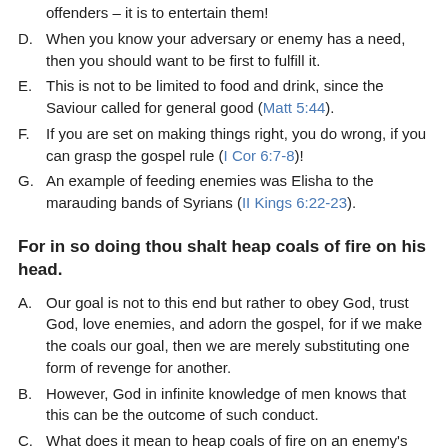offenders – it is to entertain them!
D. When you know your adversary or enemy has a need, then you should want to be first to fulfill it.
E. This is not to be limited to food and drink, since the Saviour called for general good (Matt 5:44).
F. If you are set on making things right, you do wrong, if you can grasp the gospel rule (I Cor 6:7-8)!
G. An example of feeding enemies was Elisha to the marauding bands of Syrians (II Kings 6:22-23).
For in so doing thou shalt heap coals of fire on his head.
A. Our goal is not to this end but rather to obey God, trust God, love enemies, and adorn the gospel, for if we make the coals our goal, then we are merely substituting one form of revenge for another.
B. However, God in infinite knowledge of men knows that this can be the outcome of such conduct.
C. What does it mean to heap coals of fire on an enemy's head by doing him good instead of revenge?